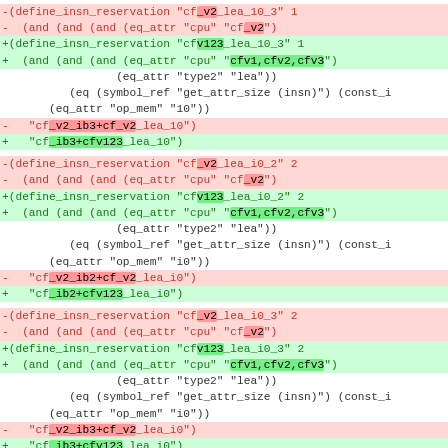Code diff showing define_insn_reservation changes, replacing cf_v2 references with cfv123 variants across multiple reservation definitions including lea_10_3, lea_i0_2, lea_i0_3, and pea_11_1.